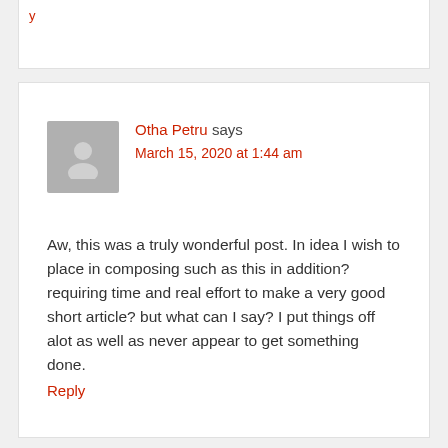Otha Petru says
March 15, 2020 at 1:44 am
Aw, this was a truly wonderful post. In idea I wish to place in composing such as this in addition? requiring time and real effort to make a very good short article? but what can I say? I put things off alot as well as never appear to get something done.
Reply